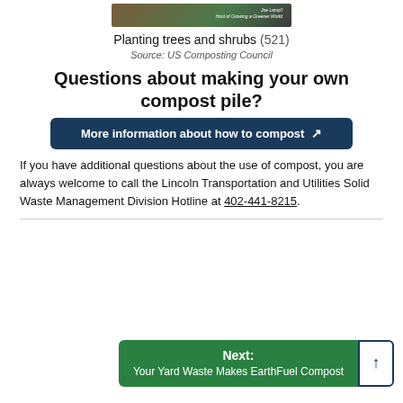[Figure (photo): Book or guide cover image about planting trees and shrubs, with a green container and soil visible.]
Planting trees and shrubs (521)
Source: US Composting Council
Questions about making your own compost pile?
More information about how to compost ↗
If you have additional questions about the use of compost, you are always welcome to call the Lincoln Transportation and Utilities Solid Waste Management Division Hotline at 402-441-8215.
Next: Your Yard Waste Makes EarthFuel Compost